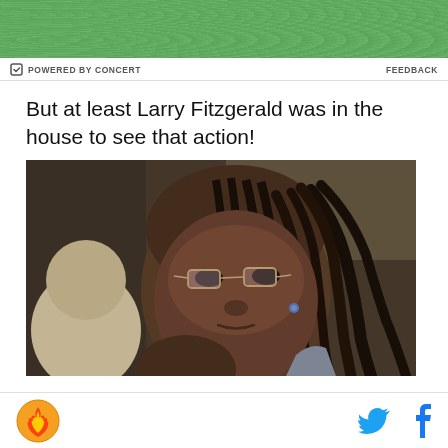[Figure (other): Green textured banner at the top of the page]
POWERED BY CONCERT    FEEDBACK
But at least Larry Fitzgerald was in the house to see that action!
[Figure (photo): Close-up photo of Larry Fitzgerald wearing glasses and looking at the camera, with dreadlocks and a blue diamond earring, wearing a plaid shirt]
Bright Side of the Sun logo, Twitter icon, Facebook icon